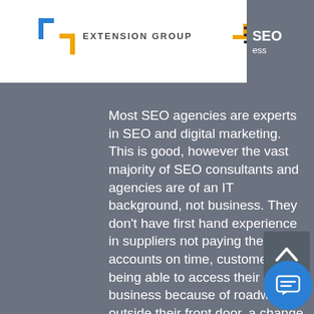[Figure (logo): Extension Group logo with blue and orange bracket marks and company name text]
Most SEO agencies are experts in SEO and digital marketing. This is good, however the vast majority of SEO consultants and agencies are of an IT background, not business. They don't have first hand experience in suppliers not paying their accounts on time, customers not being able to access their business because of roadworks outside their front door, a change in state or federal legislation that can negatively (or positively) affect their cashflow, or any other real world situation. For these reasons, its important that when selecting an SEO agency for growing your business, that you use one that has real world business experience, not just IT and